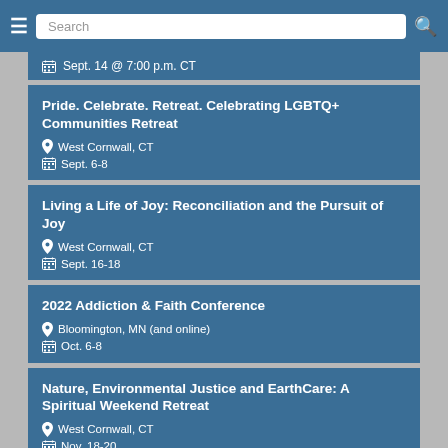Search
Sept. 14 @ 7:00 p.m. CT
Pride. Celebrate. Retreat. Celebrating LGBTQ+ Communities Retreat
West Cornwall, CT
Sept. 6-8
Living a Life of Joy: Reconciliation and the Pursuit of Joy
West Cornwall, CT
Sept. 16-18
2022 Addiction & Faith Conference
Bloomington, MN (and online)
Oct. 6-8
Nature, Environmental Justice and EarthCare: A Spiritual Weekend Retreat
West Cornwall, CT
Nov. 18-20
TheoEd Atlanta: TED-style talks about the Bible, theology,